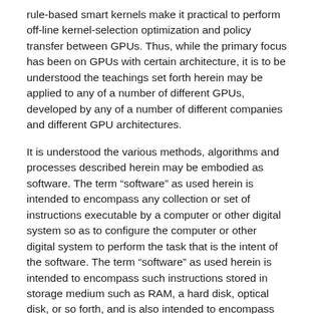rule-based smart kernels make it practical to perform off-line kernel-selection optimization and policy transfer between GPUs. Thus, while the primary focus has been on GPUs with certain architecture, it is to be understood the teachings set forth herein may be applied to any of a number of different GPUs, developed by any of a number of different companies and different GPU architectures.
It is understood the various methods, algorithms and processes described herein may be embodied as software. The term “software” as used herein is intended to encompass any collection or set of instructions executable by a computer or other digital system so as to configure the computer or other digital system to perform the task that is the intent of the software. The term “software” as used herein is intended to encompass such instructions stored in storage medium such as RAM, a hard disk, optical disk, or so forth, and is also intended to encompass so-called “firmware” that is software stored on a ROM or so forth.
Additionally, the methods, algorithms, and processes described herein may be implemented in a computer